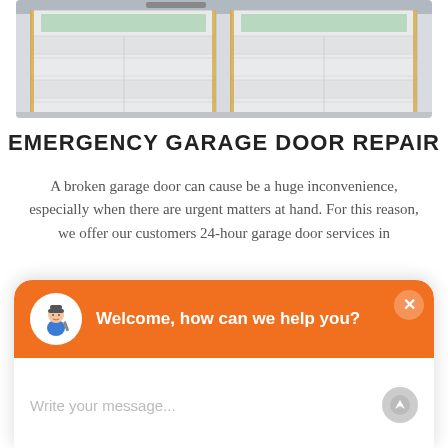[Figure (photo): Interior view of a garage with two white sectional garage doors visible from inside]
EMERGENCY GARAGE DOOR REPAIR
A broken garage door can cause be a huge inconvenience, especially when there are urgent matters at hand. For this reason, we offer our customers 24-hour garage door services in
[Figure (screenshot): Chat widget overlay with orange header showing a cartoon repairman avatar and text 'Welcome, how can we help you?' with a message input field below reading 'Write your message...']